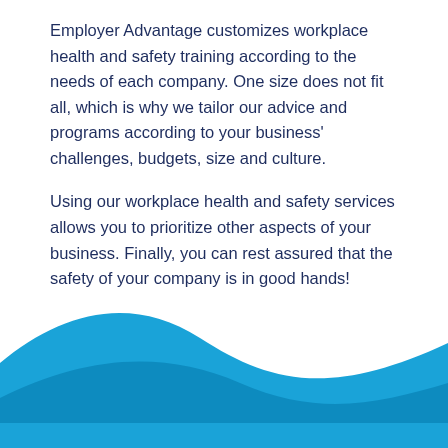Employer Advantage customizes workplace health and safety training according to the needs of each company. One size does not fit all, which is why we tailor our advice and programs according to your business' challenges, budgets, size and culture.
Using our workplace health and safety services allows you to prioritize other aspects of your business. Finally, you can rest assured that the safety of your company is in good hands!
[Figure (illustration): Blue wavy decorative banner at the bottom of the page, with two wave curves creating a flowing shape in bright blue.]